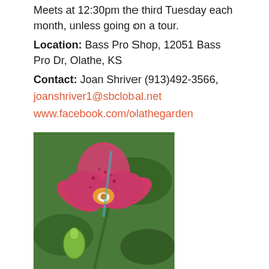Meets at 12:30pm the third Tuesday each month, unless going on a tour.
Location: Bass Pro Shop, 12051 Bass Pro Dr, Olathe, KS
Contact: Joan Shriver (913)492-3566, joanshriver1@sbclobal.net
www.facebook.com/olathegarden
[Figure (photo): Close-up photo of a pink/red orchid flower with spotted petals and green buds, against a green background.]
Orchid Society of Greater Kansas City
Meets at 1:30pm the second Sunday each month.
Location: Lenexa Senior/Community Center, 13420 Oak St, Lenexa, KS